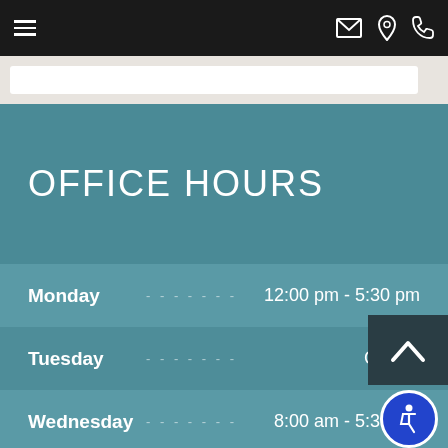Navigation bar with hamburger menu, email, location, and phone icons
OFFICE HOURS
Monday  12:00 pm - 5:30 pm
Tuesday  Closed
Wednesday  8:00 am - 5:30 pm
Thursday  12:00 pm - 5:30 pm